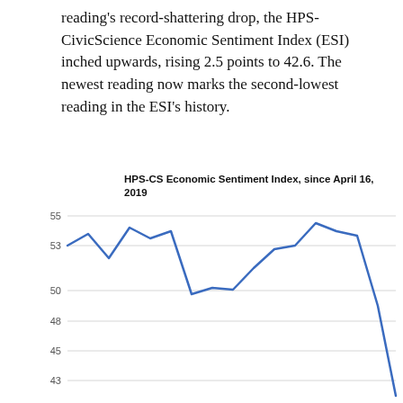reading's record-shattering drop, the HPS-CivicScience Economic Sentiment Index (ESI) inched upwards, rising 2.5 points to 42.6. The newest reading now marks the second-lowest reading in the ESI's history.
[Figure (line-chart): HPS-CS Economic Sentiment Index, since April 16, 2019]